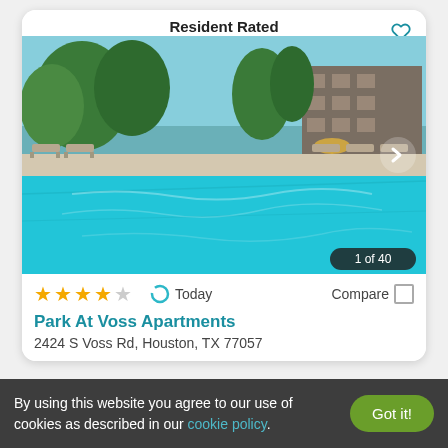[Figure (photo): Apartment pool area with lounge chairs, palm trees and multi-story building in background. Shows 'Resident Rated' label at top.]
Resident Rated
1 of 40
★★★★☆  Today  Compare
Park At Voss Apartments
2424 S Voss Rd, Houston, TX 77057
By using this website you agree to our use of cookies as described in our cookie policy.
Got it!